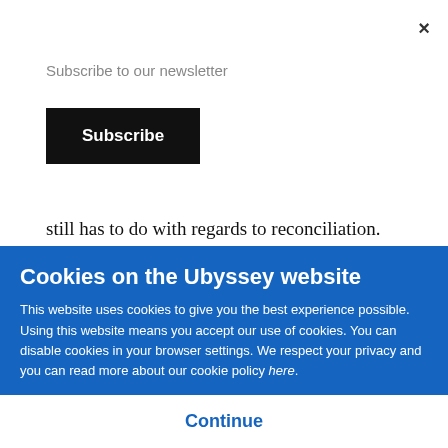×
Subscribe to our newsletter
Subscribe
still has to do with regards to reconciliation.
[Figure (other): Advertisement placeholder box with text 'ADVERTISEMENT']
Cookies on the Ubyssey website
This website uses cookies to give you the best experience possible. Using this website means you accept our use of cookies. You can disable cookies in your browser settings. We respect your privacy and you can read more about our cookie policy here.
Continue